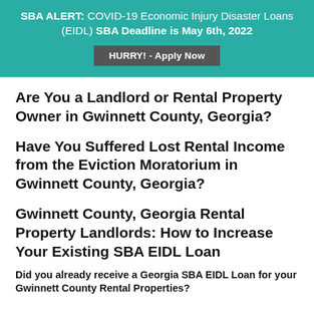SBA ALERT: COVID-19 Economic Injury Disaster Loans (EIDL) SBA Deadline is May 6th, 2022
HURRY! - Apply Now
Are You a Landlord or Rental Property Owner in Gwinnett County, Georgia?
Have You Suffered Lost Rental Income from the Eviction Moratorium in Gwinnett County, Georgia?
Gwinnett County, Georgia Rental Property Landlords: How to Increase Your Existing SBA EIDL Loan
Did you already receive a Georgia SBA EIDL Loan for your Gwinnett County Rental Properties?